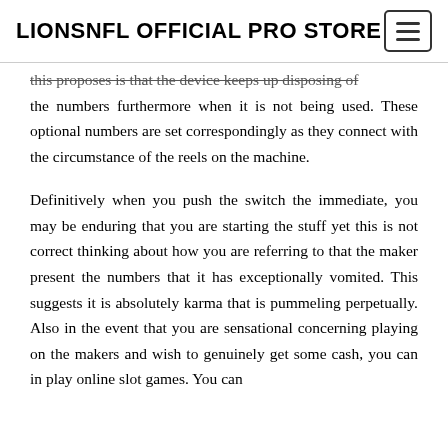LIONSNFL OFFICIAL PRO STORE
this proposes is that the device keeps up disposing of the numbers furthermore when it is not being used. These optional numbers are set correspondingly as they connect with the circumstance of the reels on the machine.
Definitively when you push the switch the immediate, you may be enduring that you are starting the stuff yet this is not correct thinking about how you are referring to that the maker present the numbers that it has exceptionally vomited. This suggests it is absolutely karma that is pummeling perpetually. Also in the event that you are sensational concerning playing on the makers and wish to genuinely get some cash, you can in play online slot games. You can